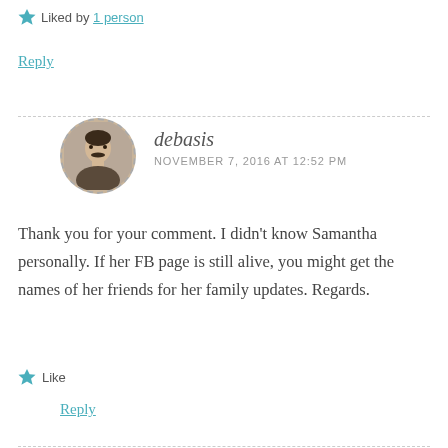Liked by 1 person
Reply
debasis
NOVEMBER 7, 2016 AT 12:52 PM
Thank you for your comment. I didn't know Samantha personally. If her FB page is still alive, you might get the names of her friends for her family updates. Regards.
Like
Reply